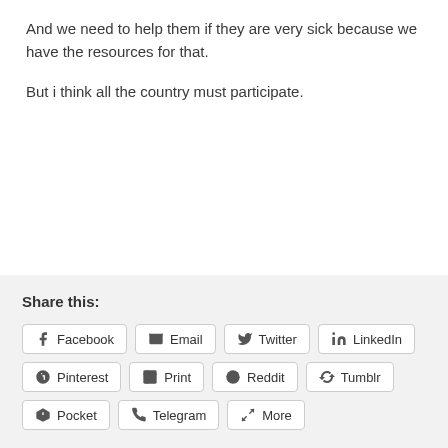And we need to help them if they are very sick because we have the resources for that.
But i think all the country must participate.
Share this: Facebook Email Twitter LinkedIn Pinterest Print Reddit Tumblr Pocket Telegram More